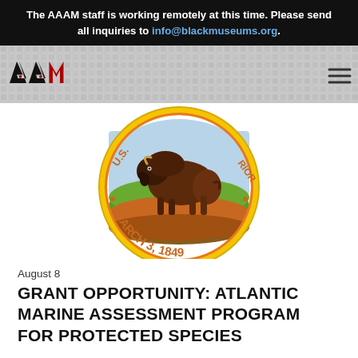The AAAM staff is working remotely at this time. Please send all inquiries to info@blackmuseums.org.
[Figure (logo): AAAM (African American Association of Museums) logo header bar with decorative patterned background and hamburger menu icon]
[Figure (logo): U.S. Department of the Interior seal showing a bison in a natural landscape, with text 'U.S.' on the left, 'RIOR' on the right, and 'MARCH 3, 1849' along the bottom arc, surrounded by a yellow and orange circular border]
August 8
GRANT OPPORTUNITY: ATLANTIC MARINE ASSESSMENT PROGRAM FOR PROTECTED SPECIES